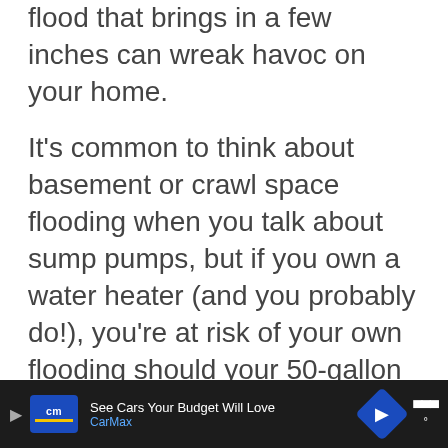flood that brings in a few inches can wreak havoc on your home.
It's common to think about basement or crawl space flooding when you talk about sump pumps, but if you own a water heater (and you probably do!), you're at risk of your own flooding should your 50-gallon water tank spring a link or sustain a bursting pipe or joint.
[Figure (photo): Partially visible photo of people, cropped at bottom of page]
[Figure (screenshot): What's Next panel showing a flame sensor article with thumbnail]
[Figure (infographic): CarMax advertisement banner: 'See Cars Your Budget Will Love' with CarMax logo and blue arrow navigation icon]